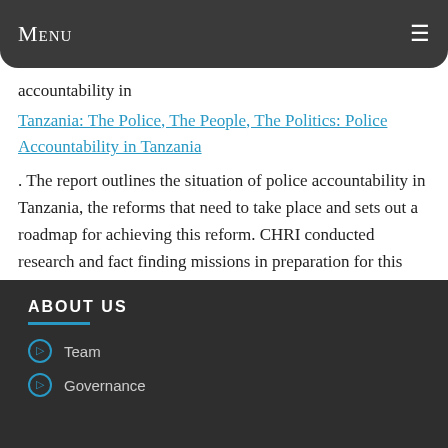Menu
accountability in
Tanzania: The Police, The People, The Politics: Police Accountability in Tanzania
. The report outlines the situation of police accountability in Tanzania, the reforms that need to take place and sets out a roadmap for achieving this reform. CHRI conducted research and fact finding missions in preparation for this report in the preceding years 2003-2005.
ABOUT US
Team
Governance